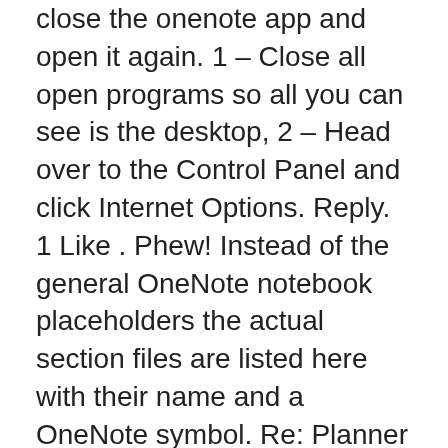close the onenote app and open it again. 1 – Close all open programs so all you can see is the desktop, 2 – Head over to the Control Panel and click Internet Options. Reply. 1 Like . Phew! Instead of the general OneNote notebook placeholders the actual section files are listed here with their name and a OneNote symbol. Re: Planner tab is missing @Dmitry Perednia . Like me, you probably didn't do anything to cause this, it just started happening of its own accord. Keep in mind that changes you make to the spreadsheet in OneNote won't appear in the original file in Excel. I can't open the hyperlinks yet. 11 – Now do the same for Onenote 2016 just above it. Onenote taking up my C: storage. You will see that same blank page, which is fine, but the neat trick is to open the Onenote tab, and try the meeting details button again. What happens when writing gigabytes of data to a pipe? Visiting Prague? Newbury, The link navigates to a OneNote tab and is working fine in both browser Teams app and desktop Teams app, but it is not working in mobile Teams app. ErinSeals . Notebooks are on the left side, Sections (tabs) are at the top, and